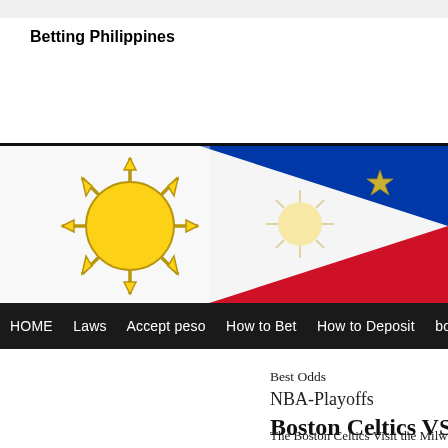Betting Philippines
[Figure (illustration): Philippine flag banner image showing sun with rays and stars on white field, with blue and red triangular sections on the right side.]
HOME  Laws  Accept peso  How to Bet  How to Deposit  bo
Best Odds
NBA-Playoffs
Boston Celtics VS Milwaukee B
The Boston Celtics Visit the Milwaukee Bucks in th night at Fiserv Forum Milwaukee, Wisconsin.